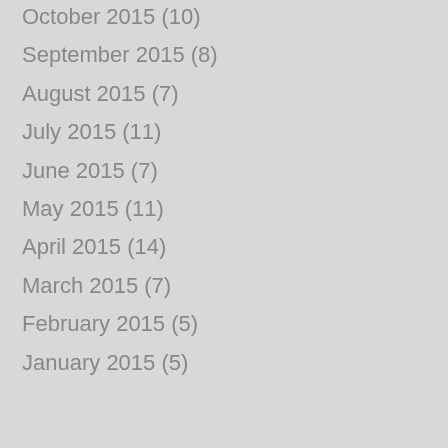October 2015 (10)
September 2015 (8)
August 2015 (7)
July 2015 (11)
June 2015 (7)
May 2015 (11)
April 2015 (14)
March 2015 (7)
February 2015 (5)
January 2015 (5)